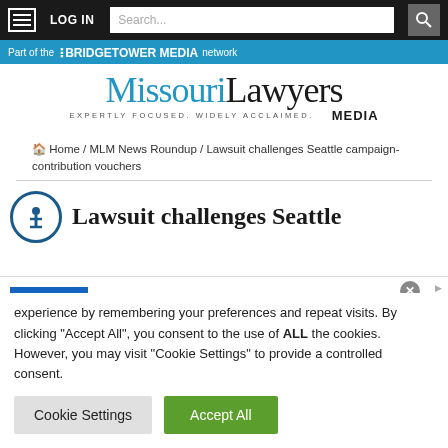LOG IN | Search...
[Figure (logo): Part of the BridgeTower Media network banner]
[Figure (logo): Missouri Lawyers Media logo — Expertly Focused. Widely Acclaimed.]
Home / MLM News Roundup / Lawsuit challenges Seattle campaign-contribution vouchers
Lawsuit challenges Seattle
[Figure (infographic): Sam's Club advertisement: Get all the perks with Plus. 2% Sam's Cash. On qualifying purchases, up to $500/year. www.samsclub.com]
experience by remembering your preferences and repeat visits. By clicking “Accept All”, you consent to the use of ALL the cookies. However, you may visit "Cookie Settings" to provide a controlled consent.
Cookie Settings | Accept All